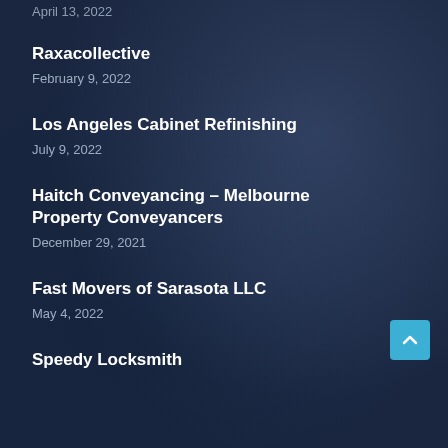April 13, 2022
Raxacollective
February 9, 2022
Los Angeles Cabinet Refinishing
July 9, 2022
Haitch Conveyancing – Melbourne Property Conveyancers
December 29, 2021
Fast Movers of Sarasota LLC
May 4, 2022
Speedy Locksmith